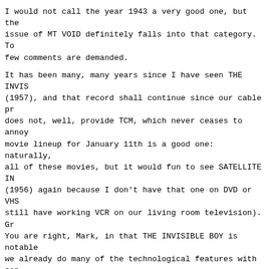I would not call the year 1943 a very good one, but the issue of MT VOID definitely falls into that category. To few comments are demanded.
It has been many, many years since I have seen THE INVIS (1957), and that record shall continue since our cable pr does not, well, provide TCM, which never ceases to annoy movie lineup for January 11th is a good one: naturally, all of these movies, but it would fun to see SATELLITE IN (1956) again because I don't have that one on DVD or VHS still have working VCR on our living room television). Gr You are right, Mark, in that THE INVISIBLE BOY is notable we already do many of the technological features with con our daily lives, right down to the hackers and counter-ir usages. Well done!
In response to Evelyn's comments on Sherlock Holmes past the 12/23/16 issue of the MT VOID, John writes:
Sherlock Holmes stories are classic, and I love a good pa anybody else. One of the best books that I have read in t ten years or so was SHERLOCK HOLMES; THE AMERICAN YEARS edited by Michael Kurland, the third anthology he edited other aspects of the Holmes canon and mystique. It's a w book with ten stories by Ruchard Lupoff, Daryl Brock, Mic Mallory, and seven others. If anybody has not read this recommend it. A very fun book. It has one of my favorite Holmes stories, "My Silk Umbrella" (the B rock story), ir twenty-year old Sherlock Holmes meets Mark Twain at a bas in Hartford, Connecticut. Grand fun!